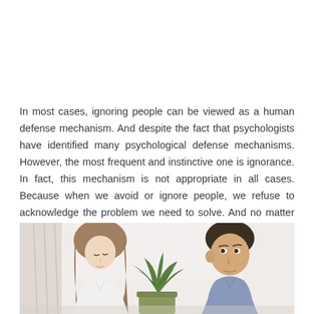In most cases, ignoring people can be viewed as a human defense mechanism. And despite the fact that psychologists have identified many psychological defense mechanisms. However, the most frequent and instinctive one is ignorance. In fact, this mechanism is not appropriate in all cases. Because when we avoid or ignore people, we refuse to acknowledge the problem we need to solve. And no matter who or what caused the problem, it should not be avoided.
[Figure (photo): A woman with long brown hair looking downward and a man with short dark hair looking toward her, seated apart with a green plant between them, suggesting a conflict or silent treatment situation.]